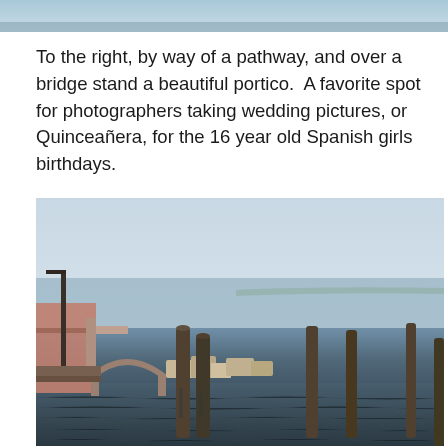[Figure (photo): Top portion of a photograph, cropped — appears to show sky or water scene.]
To the right, by way of a pathway, and over a bridge stand a beautiful portico.  A favorite spot for photographers taking wedding pictures, or Quinceañera, for the 16 year old Spanish girls birthdays.
[Figure (photo): Photograph of a waterfront scene showing old dock pilings, a stone arched bridge or portico structure partially collapsed into the water, calm bay or lagoon water, and an open sky with light clouds.]